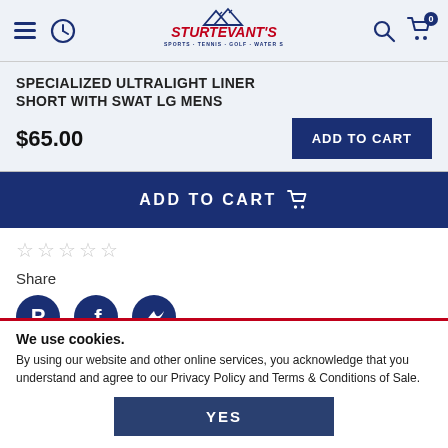Sturtevant's Snow Sports · Tennis · Golf · Water Sports
SPECIALIZED ULTRALIGHT LINER SHORT WITH SWAT LG MENS
$65.00
ADD TO CART
ADD TO CART
☆☆☆☆☆
Share
[Figure (illustration): Pinterest, Facebook, and Twitter social share icons]
We use cookies. By using our website and other online services, you acknowledge that you understand and agree to our Privacy Policy and Terms & Conditions of Sale.
YES